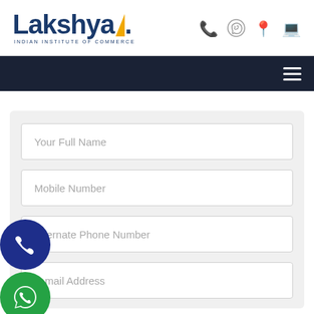[Figure (logo): Lakshya Indian Institute of Commerce logo with yellow arrow accent]
[Figure (infographic): Header icons: phone, WhatsApp, map, laptop in grey]
[Figure (infographic): Dark navy navigation bar with hamburger menu icon]
Your Full Name
Mobile Number
Alternate Phone Number
E-mail Address
[Figure (infographic): Floating dark blue circle button with phone icon]
[Figure (infographic): Floating green circle button with WhatsApp icon]